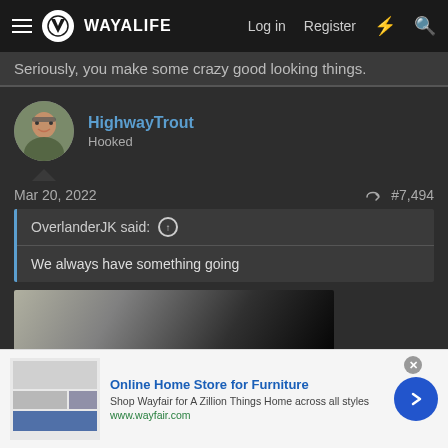WAYALIFE — Log in  Register
Seriously, you make some crazy good looking things.
HighwayTrout
Hooked
Mar 20, 2022    #7,494
OverlanderJK said: ↑
We always have something going
[Figure (photo): Partial view of a vehicle interior/exterior photo, dark tones]
infolinks
Online Home Store for Furniture
Shop Wayfair for A Zillion Things Home across all styles
www.wayfair.com